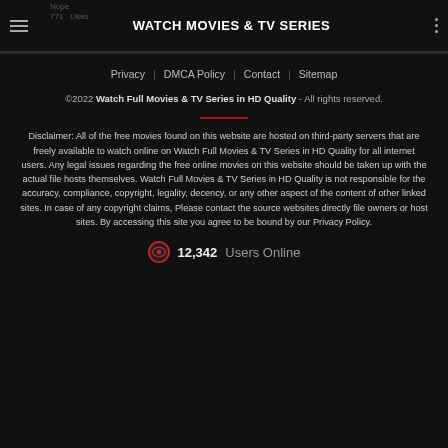WATCH MOVIES & TV SERIES
Privacy | DMCA Policy | Contact | Sitemap
©2022 Watch Full Movies & TV Series in HD Quality - All rights reserved.
Disclaimer: All of the free movies found on this website are hosted on third-party servers that are freely available to watch online on Watch Full Movies & TV Series in HD Quality for all internet users. Any legal issues regarding the free online movies on this website should be taken up with the actual file hosts themselves. Watch Full Movies & TV Series in HD Quality is not responsible for the accuracy, compliance, copyright, legality, decency, or any other aspect of the content of other linked sites. In case of any copyright claims, Please contact the source websites directly file owners or host sites. By accessing this site you agree to be bound by our Privacy Policy.
12,342 Users Online